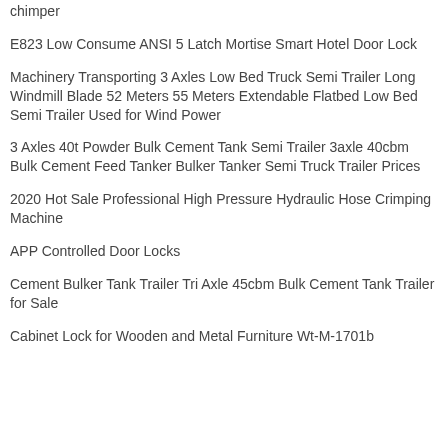chimper
E823 Low Consume ANSI 5 Latch Mortise Smart Hotel Door Lock
Machinery Transporting 3 Axles Low Bed Truck Semi Trailer Long Windmill Blade 52 Meters 55 Meters Extendable Flatbed Low Bed Semi Trailer Used for Wind Power
3 Axles 40t Powder Bulk Cement Tank Semi Trailer 3axle 40cbm Bulk Cement Feed Tanker Bulker Tanker Semi Truck Trailer Prices
2020 Hot Sale Professional High Pressure Hydraulic Hose Crimping Machine
APP Controlled Door Locks
Cement Bulker Tank Trailer Tri Axle 45cbm Bulk Cement Tank Trailer for Sale
Cabinet Lock for Wooden and Metal Furniture Wt-M-1701b